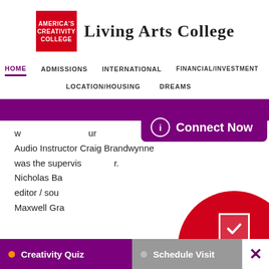[Figure (logo): America's Creativity College red square logo with Living Arts College text]
HOME | ADMISSIONS | INTERNATIONAL | FINANCIAL/INVESTMENT | LOCATION/HOUSING | DREAMS
[Figure (screenshot): Purple Connect Now popup with info icon overlay on webpage]
w... ur Audio Instructor Craig Brandwynne was the supervis... r. Nicholas Ba... editor / soun... Maxwell Gra...
[Figure (infographic): Red circle Take the My Creativity Quiz badge with checkmark]
Creativity Quiz | Schedule Visit | X